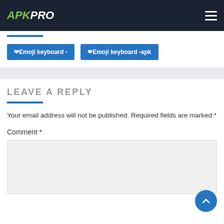APKPRO
❤Emoji keyboard -
❤Emoji keyboard -apk
LEAVE A REPLY
Your email address will not be published. Required fields are marked *
Comment *